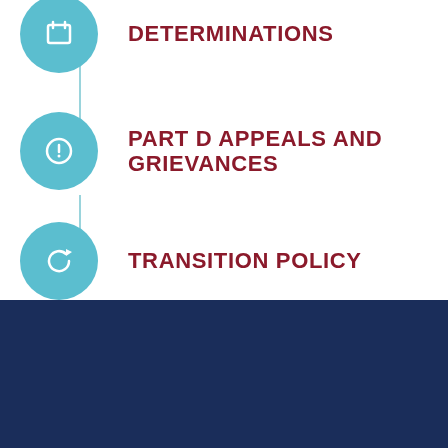DETERMINATIONS
PART D APPEALS AND GRIEVANCES
TRANSITION POLICY
GENERAL INFORMATION
YOUR RIGHTS
PRIVACY POLICY AND PRACTICES